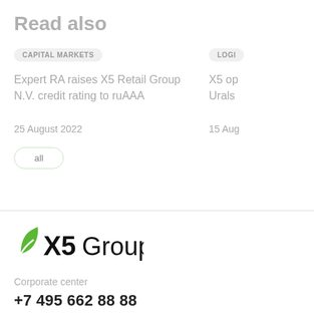Read also
CAPITAL MARKETS
Expert RA raises X5 Retail Group N.V. credit rating to ruAAA
25 August 2022
LOGI
X5 op Urals
15 Aug
[Figure (logo): X5 Group logo with green leaf icon and bold X5Group text]
Corporate center
+7 495 662 88 88